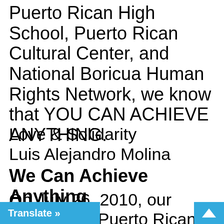Puerto Rican High School, Puerto Rican Cultural Center, and National Boricua Human Rights Network, we know that YOU CAN ACHIEVE ANYTHING.
Love & Solidarity
Luis Alejandro Molina
We Can Achieve Anything
On July 26, 2010, our people, the Puerto Rican people, will celebrate yet another victory for our [people,] the release of